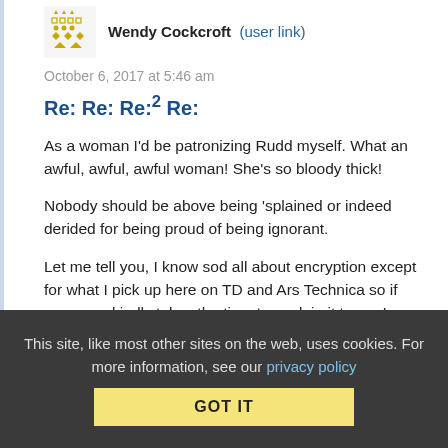Wendy Cockcroft (user link)
October 6, 2017 at 5:46 am
Re: Re: Re:2 Re:
As a woman I'd be patronizing Rudd myself. What an awful, awful, awful woman! She's so bloody thick!
Nobody should be above being 'splained or indeed derided for being proud of being ignorant.
Let me tell you, I know sod all about encryption except for what I pick up here on TD and Ars Technica so if someone kindly takes the time to explain it to me I am grateful that they made the effort. Amber Rudd would be wise to do the same.
This site, like most other sites on the web, uses cookies. For more information, see our privacy policy  GOT IT